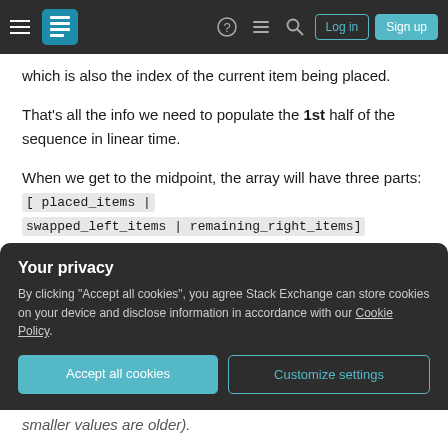Stack Exchange navigation bar with Log in and Sign up buttons
which is also the index of the current item being placed.
That's all the info we need to populate the 1st half of the sequence in linear time.
When we get to the midpoint, the array will have three parts: [ placed_items | swapped_left_items | remaining_right_items] If we can unscramble the swapped items, we have reduced the problem to half the size, and can
Your privacy
By clicking "Accept all cookies", you agree Stack Exchange can store cookies on your device and disclose information in accordance with our Cookie Policy.
Accept all cookies
Customize settings
smaller values are older).